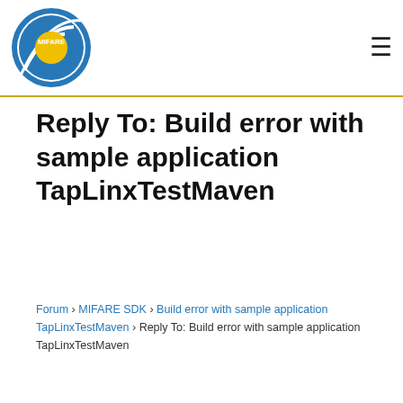MIFARE
Reply To: Build error with sample application TapLinxTestMaven
Forum › MIFARE SDK › Build error with sample application TapLinxTestMaven › Reply To: Build error with sample application TapLinxTestMaven
We use cookies to offer you a better browsing experience and analyze site traffic. Learn more about how we use cookies and how you can control them by clicking on Cookies Settings. For more Information visit our Privacy Policy
The TapLinx team